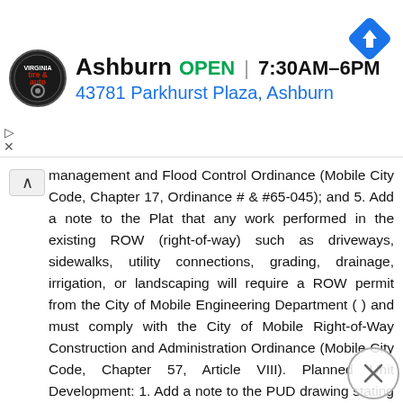[Figure (screenshot): Advertisement banner for Virginia Tire & Auto Ashburn location showing logo, OPEN status, hours 7:30AM-6PM, address 43781 Parkhurst Plaza Ashburn, and navigation icon]
management and Flood Control Ordinance (Mobile City Code, Chapter 17, Ordinance # & #65-045); and 5. Add a note to the Plat that any work performed in the existing ROW (right-of-way) such as driveways, sidewalks, utility connections, grading, drainage, irrigation, or landscaping will require a ROW permit from the City of Mobile Engineering Department ( ) and must comply with the City of Mobile Right-of-Way Construction and Administration Ordinance (Mobile City Code, Chapter 57, Article VIII). Planned Unit Development: 1. Add a note to the PUD drawing stating that any work performed in the existing Pleasant Valley Road or Magnolia Road ROW (right-of-way) such as grading, drainage, driveways, sidewalks, utility connections, irrigation, or landscaping will require a ROW permit from the City of Mobile Engineering Department ( ) and must comply with the City of Mobile Right-of-Way Construction and Administration Ordinance (Mobile City Code, Chapter 57, Article VIII); 2. Add a note to the PUD